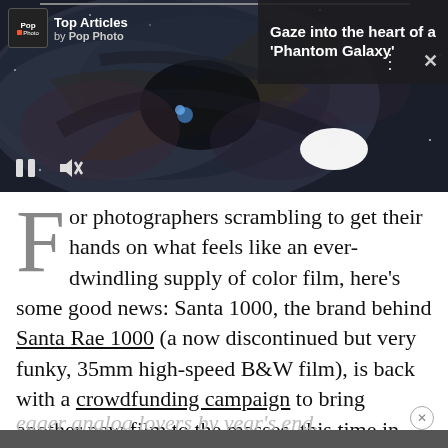[Figure (screenshot): A screenshot of a Pop Photo app article card showing a galaxy image. The card has a 'Top Articles by Pop Photo' badge in the top-left, a 'Gaze into the heart of a Phantom Galaxy' headline in the top-right dark overlay, media control icons (pause, mute), and a white oval shape in the center-right of the image.]
For photographers scrambling to get their hands on what feels like an ever-dwindling supply of color film, here's some good news: Santa 1000, the brand behind Santa Rae 1000 (a now discontinued but very funky, 35mm high-speed B&W film), is back with a crowdfunding campaign to bring another new film to the masses, this time in color. If all goes according to plan, SantaColor 100 will be shipping to
eager analog lovers by year's end.